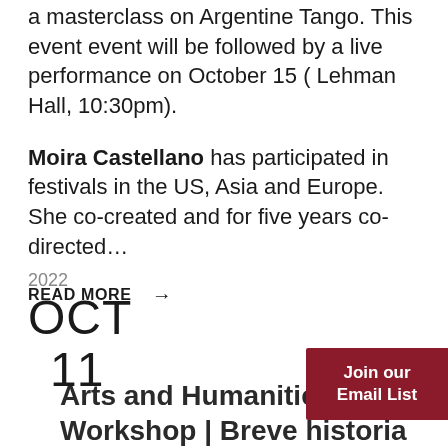a masterclass on Argentine Tango. This event event will be followed by a live performance on October 15 ( Lehman Hall, 10:30pm).
Moira Castellano has participated in festivals in the US, Asia and Europe. She co-created and for five years co-directed...
READ MORE →
2022
OCT
11
Arts and Humanities Workshop | Breve historia
Join our Email List